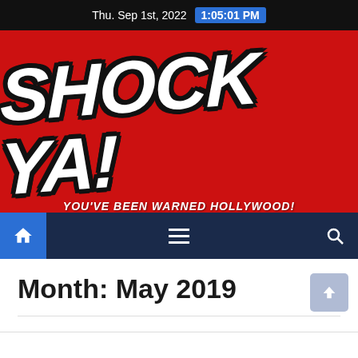Thu. Sep 1st, 2022  1:05:01 PM
[Figure (logo): Shock Ya! website banner logo on red background with white italic bold text 'SHOCK YA!' and subtitle 'YOU'VE BEEN WARNED HOLLYWOOD!']
Navigation bar with home icon, hamburger menu, and search icon
Month: May 2019